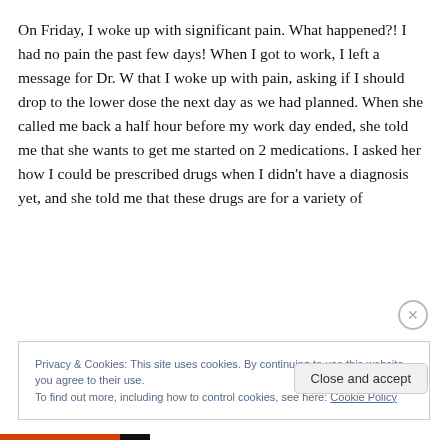On Friday, I woke up with significant pain. What happened?! I had no pain the past few days! When I got to work, I left a message for Dr. W that I woke up with pain, asking if I should drop to the lower dose the next day as we had planned. When she called me back a half hour before my work day ended, she told me that she wants to get me started on 2 medications. I asked her how I could be prescribed drugs when I didn't have a diagnosis yet, and she told me that these drugs are for a variety of
Privacy & Cookies: This site uses cookies. By continuing to use this website, you agree to their use.
To find out more, including how to control cookies, see here: Cookie Policy